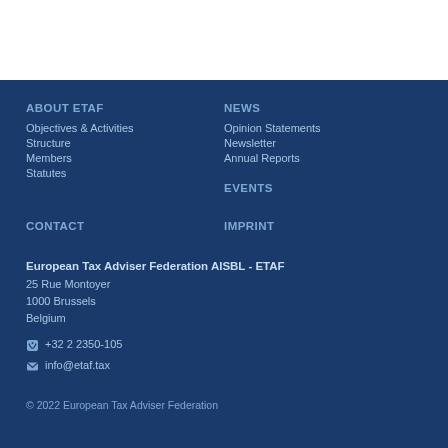ABOUT ETAF
Objectives & Activities
Structure
Members
Statutes
NEWS
Opinion Statements
Newsletter
Annual Reports
EVENTS
CONTACT
IMPRINT
European Tax Adviser Federation AISBL - ETAF
25 Rue Montoyer
1000 Brussels
Belgium
+32 2 2350-105
info@etaf.tax
© 2022 European Tax Adviser Federation